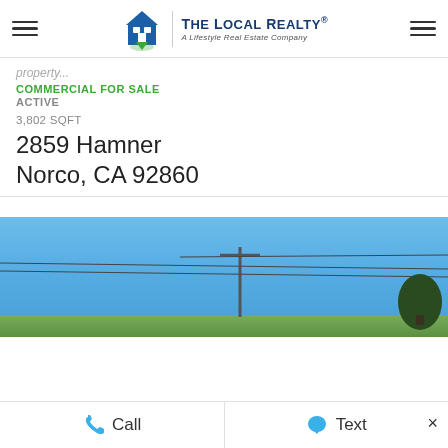[Figure (logo): The Local Realty logo — house icon with green and blue coloring, vertical divider, 'THE LOCAL REALTY®' in dark blue, 'A Lifestyle Real Estate Company' subtitle]
COMMERCIAL FOR SALE
ACTIVE
3,802 SQFT
2859 Hamner
Norco, CA 92860
[Figure (photo): Outdoor photo showing blue sky with power lines and pole, trees in background, ground level vegetation]
Call
Text